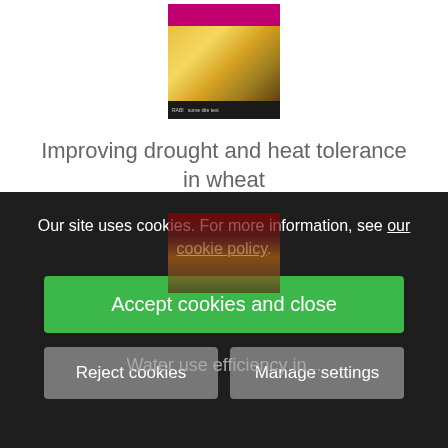[Figure (photo): Book cover for 'Improving drought and heat tolerance in wheat' with pink/magenta top bar and golden wheat imagery]
Improving drought and heat tolerance in wheat
£25.00
VIEW DETAILS
Our site uses cookies. For more information, see our cookie policy.
Accept cookies and close
Reject cookies
Manage settings
Water use efficiency in...